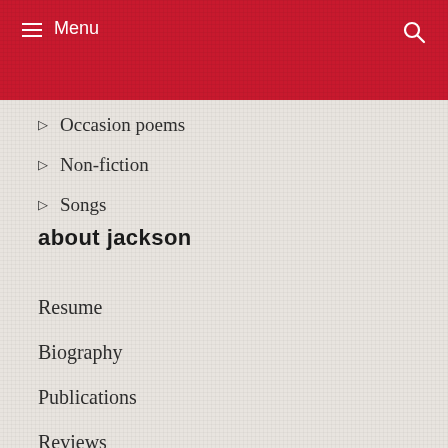Menu
Occasion poems
Non-fiction
Songs
about jackson
Resume
Biography
Publications
Reviews
Interviews
Photo gallery
Rates